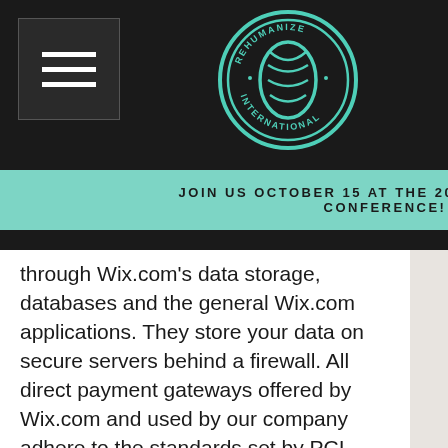[Figure (screenshot): Website header with black background, hamburger menu icon on left, Rehumanize International circular logo in center, shopping cart icon with '0' badge on right]
JOIN US OCTOBER 15 AT THE 2022 REHUMANIZE CONFERENCE!
through Wix.com's data storage, databases and the general Wix.com applications. They store your data on secure servers behind a firewall. All direct payment gateways offered by Wix.com and used by our company adhere to the standards set by PCI-DSS as managed by the PCI Security Standards Council, which is a joint effort of brands like Visa, MasterCard, American Express and Discover. PCI-DSS requirements help ensure the secure handling of credit card information by our store and its service providers.
We may contact you to notify you regarding your account, to troubleshoot problems with your account, to resolve a dispute, to collect fees or monies owed, to poll your opinions through surveys or questionnaires, to send updates about our company, or as otherwise